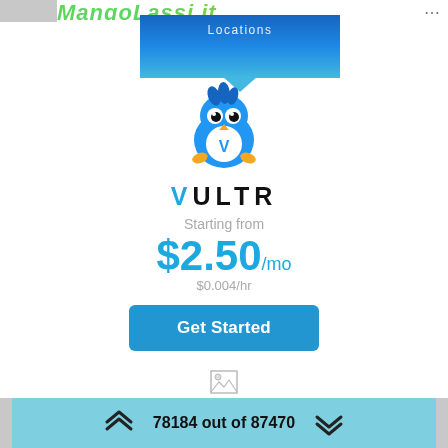[Figure (logo): MangLassi.it website logo text in green-orange gradient italic font, partially visible at top]
[Figure (illustration): Blue rectangular map area with 'Locations' text and downward-pointing triangle arrow]
[Figure (logo): Vultr blue cartoon bird mascot logo]
VULTR
Starting from
$2.50/mo
$0.004/hr
Get Started
[Figure (illustration): Small broken image icon placeholder]
78184 out of 87470